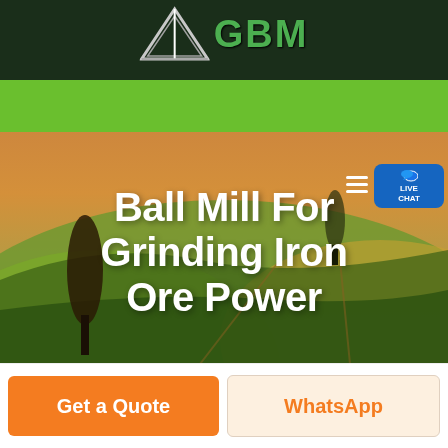[Figure (logo): GBM company logo with white/silver arrow/triangle graphic and green GBM text on dark green background header bar]
[Figure (screenshot): Green navigation bar with hamburger menu icon and blue Live Chat button with speech bubble icon on right side]
[Figure (photo): Aerial landscape photo of rolling green and golden fields with lone trees, used as hero background image]
Ball Mill For Grinding Iron Ore Power
Get a Quote
WhatsApp